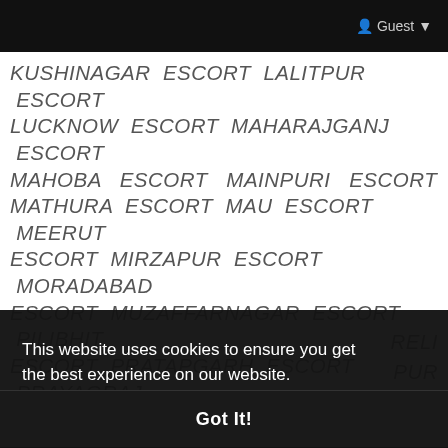Guest
KUSHINAGAR ESCORT LALITPUR ESCORT LUCKNOW ESCORT MAHARAJGANJ ESCORT MAHOBA ESCORT MAINPURI ESCORT MATHURA ESCORT MAU ESCORT MEERUT ESCORT MIRZAPUR ESCORT MORADABAD ESCORT MUZAFFARNAGAR ESCORT PILIBHIT ESCORT PRATAPGARH ESCORT PRAYAGRAJ ESCORT # In-Call Services When you choose our in-calling services, we do all the arrangements on behalf of you. All you have to do is meet the escort
This website uses cookies to ensure you get the best experience on our website.
Learn More
Got It!
UNNAO ESCORT VARANASI ESCORT ALMORA